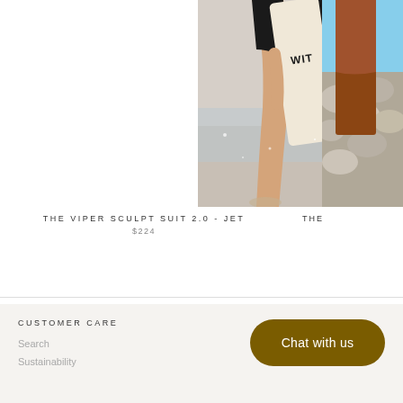[Figure (photo): Two women in black swimsuits standing on a beach holding a surfboard with 'WIT' text visible, shot from the waist down]
THE VIPER SCULPT SUIT 2.0 - JET
$224
[Figure (photo): Partial view of a person near rocks on a beach, cropped on the right side]
THE
CUSTOMER CARE
Search
Sustainability